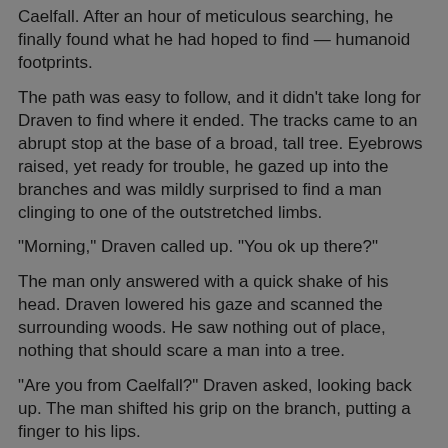Caelfall. After an hour of meticulous searching, he finally found what he had hoped to find — humanoid footprints.
The path was easy to follow, and it didn't take long for Draven to find where it ended. The tracks came to an abrupt stop at the base of a broad, tall tree. Eyebrows raised, yet ready for trouble, he gazed up into the branches and was mildly surprised to find a man clinging to one of the outstretched limbs.
"Morning," Draven called up. "You ok up there?"
The man only answered with a quick shake of his head. Draven lowered his gaze and scanned the surrounding woods. He saw nothing out of place, nothing that should scare a man into a tree.
"Are you from Caelfall?" Draven asked, looking back up. The man shifted his grip on the branch, putting a finger to his lips.
"Quiet," he whispered. "They'll hear you!"
Brows furrowed, the ranger scanned the woods again but saw nothing bizarre. He returned his gaze to the man, forcing himself not to laugh.